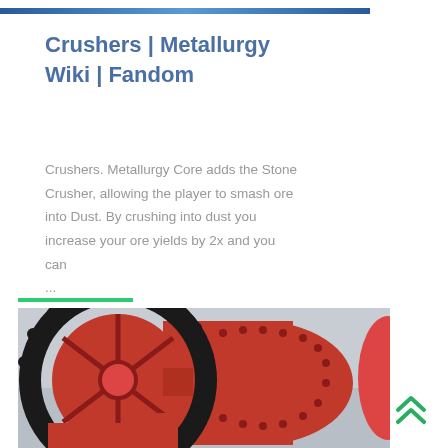[Figure (photo): Top banner image strip showing machinery/equipment in blue tones]
Crushers | Metallurgy Wiki | Fandom
Crushers. Metallurgy Core adds the Stone Crusher, allowing the player to smash ore into Dust. By crushing into dust you increase your ore yields by 2x and you can ...
[Figure (photo): Industrial ball mill / crusher machine in orange color with large black gear ring, photographed in a factory setting]